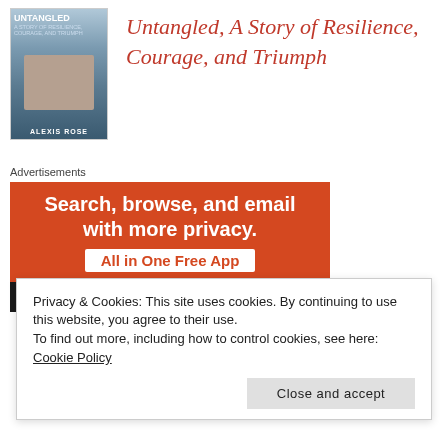[Figure (photo): Book cover for 'Untangled, A Story of Resilience, Courage, and Triumph' by Alexis Rose, showing a figure on a dark background]
Untangled, A Story of Resilience, Courage, and Triumph
Advertisements
[Figure (infographic): DuckDuckGo advertisement banner with orange background: 'Search, browse, and email with more privacy. All in One Free App' and 'DuckDuckGo.' at the bottom]
Privacy & Cookies: This site uses cookies. By continuing to use this website, you agree to their use.
To find out more, including how to control cookies, see here: Cookie Policy
Close and accept